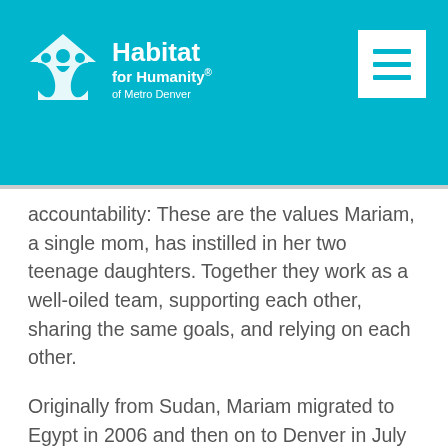Habitat for Humanity of Metro Denver
accountability: These are the values Mariam, a single mom, has instilled in her two teenage daughters. Together they work as a well-oiled team, supporting each other, sharing the same goals, and relying on each other.
Originally from Sudan, Mariam migrated to Egypt in 2006 and then on to Denver in July 2010. She is employed as a personal care provider for the Alliance for Home Care. Presently, Mariam is pursuing a degree as a Licensed Practical Nurse.
For the single mother and her two teenage daughters, their present living conditions offer a challenging…